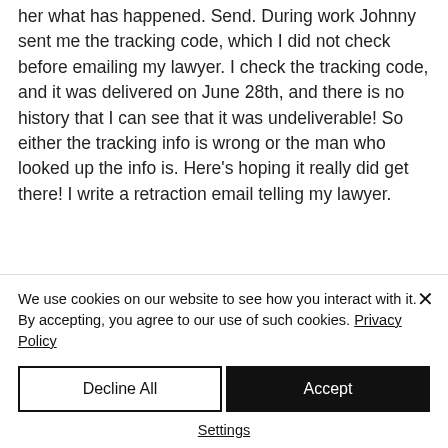her what has happened. Send. During work Johnny sent me the tracking code, which I did not check before emailing my lawyer. I check the tracking code, and it was delivered on June 28th, and there is no history that I can see that it was undeliverable! So either the tracking info is wrong or the man who looked up the info is. Here's hoping it really did get there! I write a retraction email telling my lawyer.
We use cookies on our website to see how you interact with it. By accepting, you agree to our use of such cookies. Privacy Policy
Decline All
Accept
Settings